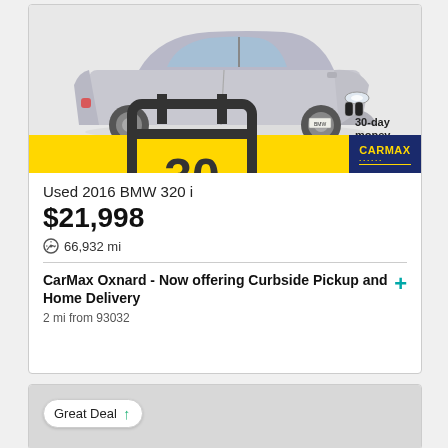[Figure (photo): Silver 2016 BMW 320i sedan on white background, three-quarter front view. Below the car is a yellow and dark blue CarMax banner reading '30-day money back returns' with a calendar icon showing '30' and the CarMax logo.]
Used 2016 BMW 320 i
$21,998
66,932 mi
CarMax Oxnard - Now offering Curbside Pickup and Home Delivery
2 mi from 93032
[Figure (photo): Partial view of a car listing card showing a gray background image with a 'Great Deal' badge with upward arrow.]